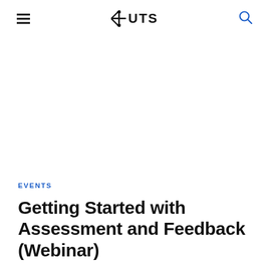UTS
EVENTS
Getting Started with Assessment and Feedback (Webinar)